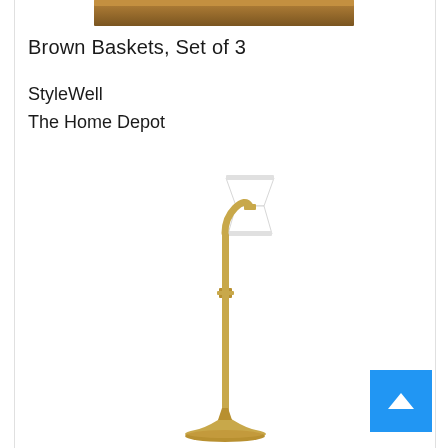[Figure (photo): Partial product image at top, showing wooden brown baskets background]
Brown Baskets, Set of 3
StyleWell
The Home Depot
[Figure (photo): A floor lamp with a gold/brass-colored stem and base, featuring a white hourglass-shaped shade at the top. The lamp has an adjustable neck and a flared base.]